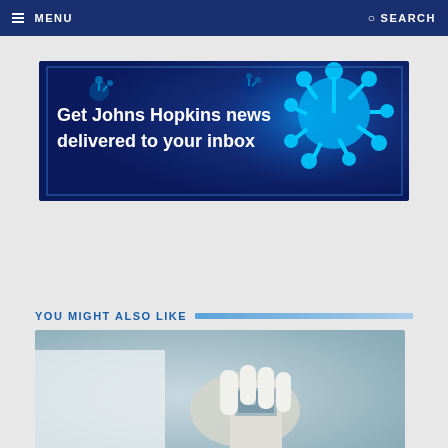MENU   SEARCH
[Figure (infographic): Johns Hopkins newsletter signup banner with blue background showing coronavirus particles and text 'Get Johns Hopkins news delivered to your inbox']
YOU MIGHT ALSO LIKE
[Figure (photo): A gloved hand holding a medical device, likely a pulse oximeter or similar diagnostic tool]